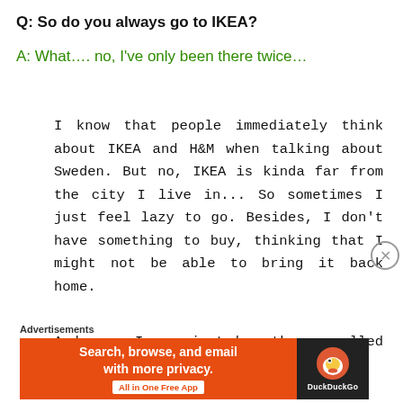Q: So do you always go to IKEA?
A: What…. no, I've only been there twice…
I know that people immediately think about IKEA and H&M when talking about Sweden. But no, IKEA is kinda far from the city I live in... So sometimes I just feel lazy to go. Besides, I don't have something to buy, thinking that I might not be able to bring it back home.
And yea, I can just buy the so-called IKEA meatballs in supermarket.
Advertisements
[Figure (other): DuckDuckGo advertisement banner: orange background with text 'Search, browse, and email with more privacy. All in One Free App' and DuckDuckGo duck logo on dark background.]